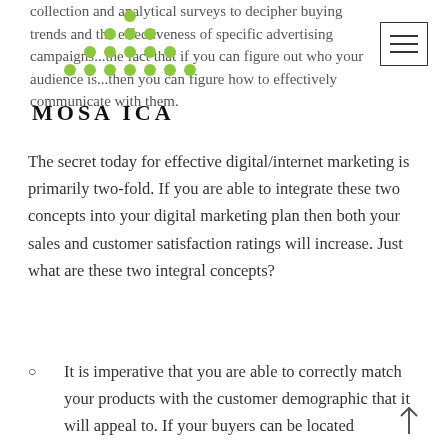[Figure (logo): Mosaica logo with green dot pattern arranged in triangle shape above the text MOSAICA in bold serif letters]
collection and analytical surveys to decipher buying trends and the effectiveness of specific advertising campaigns...the fact that if you can figure out who your audience is...then you can figure how to effectively communicate with them.
The secret today for effective digital/internet marketing is primarily two-fold. If you are able to integrate these two concepts into your digital marketing plan then both your sales and customer satisfaction ratings will increase. Just what are these two integral concepts?
It is imperative that you are able to correctly match your products with the customer demographic that it will appeal to. If your buyers can be located